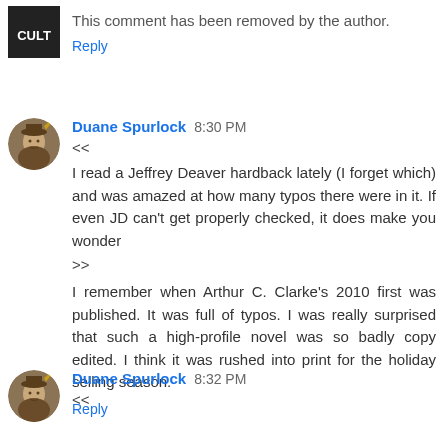[Figure (illustration): Small square avatar icon with CULT text/logo]
This comment has been removed by the author.
Reply
[Figure (illustration): Round avatar of Duane Spurlock - vintage-style illustrated portrait]
Duane Spurlock 8:30 PM
<< I read a Jeffrey Deaver hardback lately (I forget which) and was amazed at how many typos there were in it. If even JD can't get properly checked, it does make you wonder >>
I remember when Arthur C. Clarke's 2010 first was published. It was full of typos. I was really surprised that such a high-profile novel was so badly copy edited. I think it was rushed into print for the holiday selling season.
Reply
[Figure (illustration): Round avatar of Duane Spurlock - vintage-style illustrated portrait]
Duane Spurlock 8:32 PM
<<